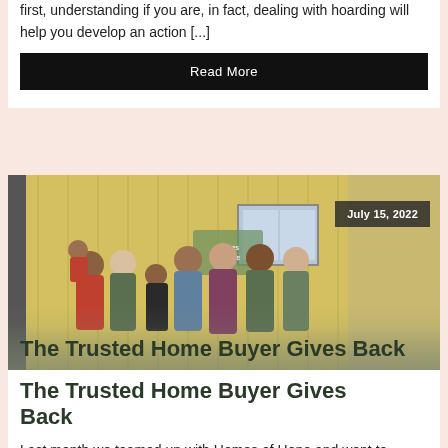first, understanding if you are, in fact, dealing with hoarding will help you develop an action [...]
Read More
[Figure (photo): Group photo of several people standing in front of a yellow building, including adults and children, some wearing green t-shirts. Date badge: July 15, 2022.]
The Trusted Home Buyer Gives Back
Last month we teamed up with Homes of Hope and went to Mexico to help build a home for the Solana Muñoz family. It was a privilege to serve this family and